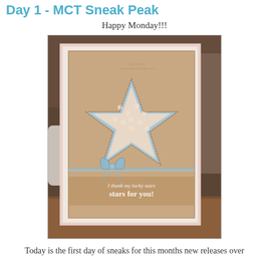Day 1 - MCT Sneak Peak
Happy Monday!!!
[Figure (photo): A handmade greeting card with a kraft cardstock background, featuring a star-shaped cutout revealing patterned paper (polka dots and chevron stripes in light blue and tan), a light blue twine bow at the bottom, and the text 'I thank my lucky stars for you!' stamped in white. The card is photographed on a wooden surface with a wicker basket in the background.]
Today is the first day of sneaks for this months new releases over